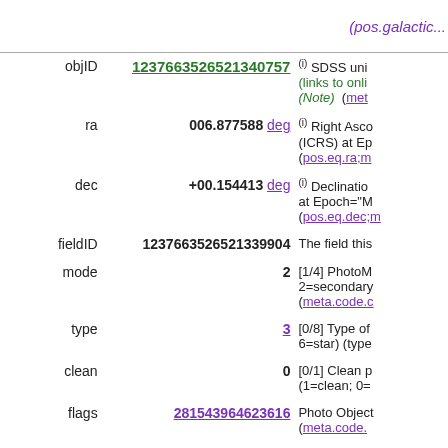(pos.galactic...
| Field | Value | Description |
| --- | --- | --- |
| objID | 1237663526521340757 | (i) SDSS unique object identifier (links to online data) (Note) (meta... |
| ra | 006.877588 deg | (i) Right Ascension (ICRS) at Epoch=... (pos.eq.ra;me... |
| dec | +00.154413 deg | (i) Declination at Epoch="M... (pos.eq.dec;m... |
| fieldID | 1237663526521339904 | The field this... |
| mode | 2 | [1/4] PhotoM... 2=secondary... (meta.code.c... |
| type | 3 | [0/8] Type of... 6=star) (type... |
| clean | 0 | [0/1] Clean p... (1=clean; 0=... |
| flags | 281543964623616 | Photo Object... (meta.code.... |
| psfMag_u | 23.233 mag | (i) [4/35] PSF... |